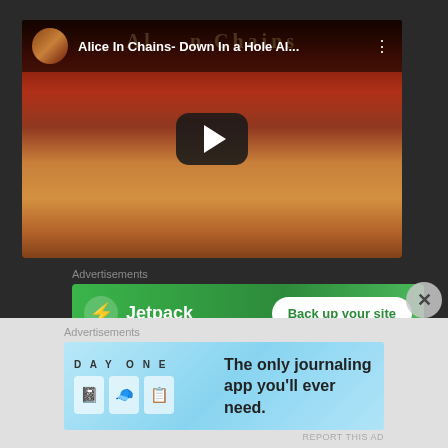[Figure (screenshot): YouTube video player showing Alice In Chains - Down In a Hole album art with play button. Channel icon visible in top left, video title in header, three-dot menu icon on right.]
Advertisements
[Figure (screenshot): Jetpack advertisement banner with green background. Shows Jetpack logo with lightning bolt icon and text 'Jetpack' on left, and a white rounded button 'Back up your site' on right.]
REPORT THIS AD
Advertisements
[Figure (screenshot): DAY ONE journaling app advertisement with light blue background. Shows 'DAY ONE' branding text, three app icons (notebook, person, list), and text 'The only journaling app you'll ever need.']